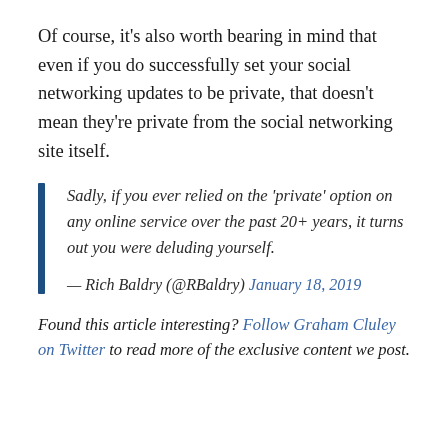Of course, it's also worth bearing in mind that even if you do successfully set your social networking updates to be private, that doesn't mean they're private from the social networking site itself.
Sadly, if you ever relied on the 'private' option on any online service over the past 20+ years, it turns out you were deluding yourself.
— Rich Baldry (@RBaldry) January 18, 2019
Found this article interesting? Follow Graham Cluley on Twitter to read more of the exclusive content we post.